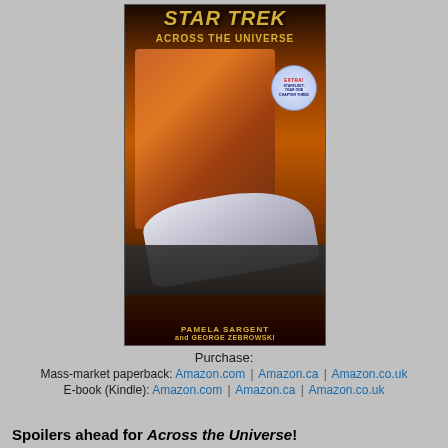[Figure (illustration): Book cover of Star Trek: Across the Universe by Pamela Sargent and George Zebrowski, featuring a man's face against a fiery background, a starship, and a circular badge reading EXTRA! STARFLEET: YEAR ONE CHAPTER THREE]
Purchase:
Mass-market paperback: Amazon.com | Amazon.ca | Amazon.co.uk
E-book (Kindle): Amazon.com | Amazon.ca | Amazon.co.uk
Spoilers ahead for Across the Universe!